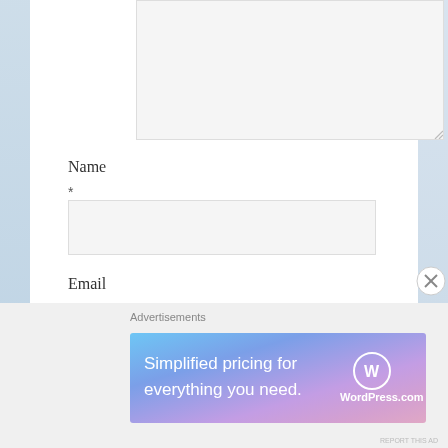[textarea input field]
Name
*
[name input field]
Email
*
[email input field]
Advertisements
[Figure (screenshot): WordPress.com advertisement banner with text 'Simplified pricing for everything you need.' and WordPress.com logo on gradient blue-purple background]